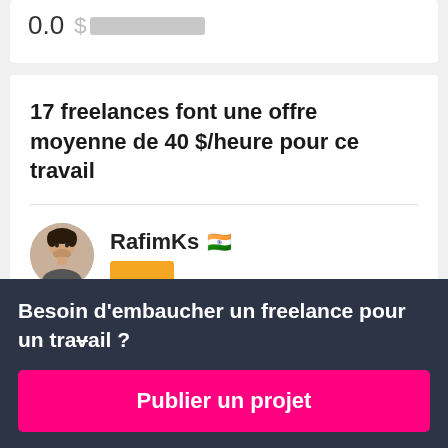0.0  $ ██████████
17 freelances font une offre moyenne de 40 $/heure pour ce travail
RafimKs 🇮🇳
Besoin d'embaucher un freelance pour un travail ?
Publier un projet